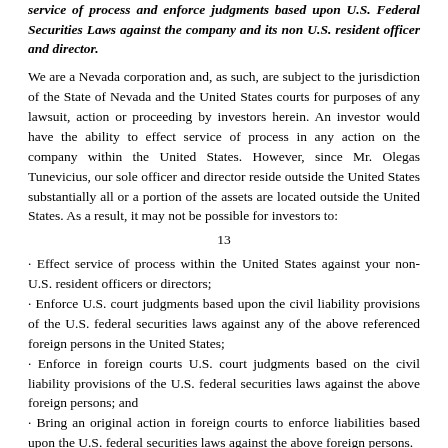service of process and enforce judgments based upon U.S. Federal Securities Laws against the company and its non U.S. resident officer and director.
We are a Nevada corporation and, as such, are subject to the jurisdiction of the State of Nevada and the United States courts for purposes of any lawsuit, action or proceeding by investors herein. An investor would have the ability to effect service of process in any action on the company within the United States. However, since Mr. Olegas Tunevicius, our sole officer and director reside outside the United States substantially all or a portion of the assets are located outside the United States. As a result, it may not be possible for investors to:
13
· Effect service of process within the United States against your non-U.S. resident officers or directors;
· Enforce U.S. court judgments based upon the civil liability provisions of the U.S. federal securities laws against any of the above referenced foreign persons in the United States;
· Enforce in foreign courts U.S. court judgments based on the civil liability provisions of the U.S. federal securities laws against the above foreign persons; and
· Bring an original action in foreign courts to enforce liabilities based upon the U.S. federal securities laws against the above foreign persons.
We are deemed a "shell company" under the Rule 12b-2 of the Exchange Act, as a result, our shareholders may be limited in their